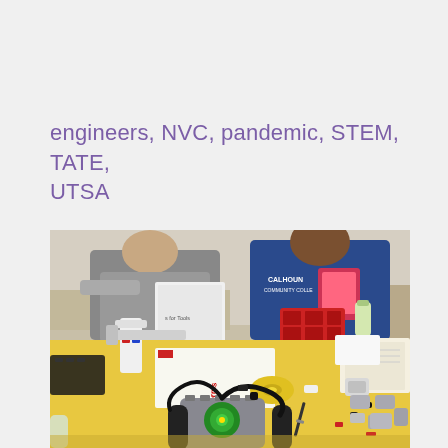engineers, NVC, pandemic, STEM, TATE, UTSA
[Figure (photo): Students working at a table with LEGO Mindstorms robotics kits. In the foreground is a partially assembled LEGO Mindstorms robot on a yellow table surface scattered with robot parts, tools, tape, and components. In the background, two students are visible — one wearing a gray shirt and another wearing a blue 'Calhoun Community College' sweatshirt — alongside a white folder stand and a red organizer tray.]